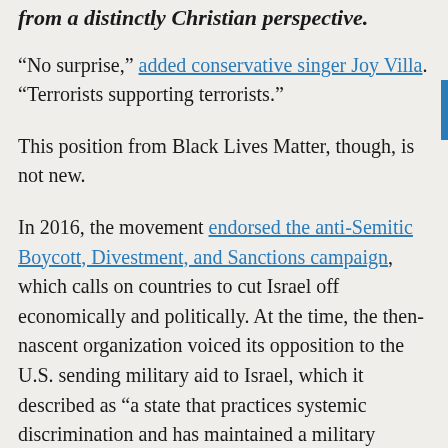from a distinctly Christian perspective.
“No surprise,” added conservative singer Joy Villa. “Terrorists supporting terrorists.”
This position from Black Lives Matter, though, is not new.
In 2016, the movement endorsed the anti-Semitic Boycott, Divestment, and Sanctions campaign, which calls on countries to cut Israel off economically and politically. At the time, the then-nascent organization voiced its opposition to the U.S. sending military aid to Israel, which it described as “a state that practices systemic discrimination and has maintained a military occupation of Palestine for decades.”
The document released then only critiqued foreign